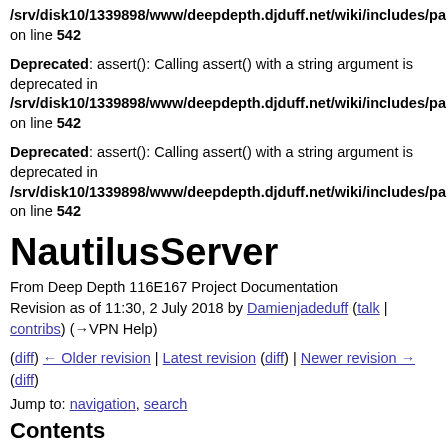/srv/disk10/1339898/www/deepdepth.djduff.net/wiki/includes/pa on line 542
Deprecated: assert(): Calling assert() with a string argument is deprecated in /srv/disk10/1339898/www/deepdepth.djduff.net/wiki/includes/pa on line 542
Deprecated: assert(): Calling assert() with a string argument is deprecated in /srv/disk10/1339898/www/deepdepth.djduff.net/wiki/includes/pa on line 542
NautilusServer
From Deep Depth 116E167 Project Documentation Revision as of 11:30, 2 July 2018 by Damienjadeduff (talk | contribs) (→VPN Help)
(diff) ← Older revision | Latest revision (diff) | Newer revision → (diff)
Jump to: navigation, search
Contents